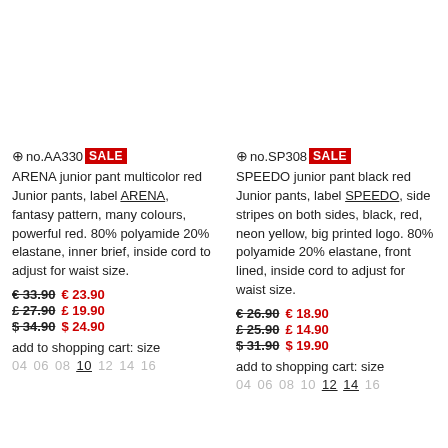no.AA330 SALE
ARENA junior pant multicolor red
Junior pants, label ARENA, fantasy pattern, many colours, powerful red. 80% polyamide 20% elastane, inner brief, inside cord to adjust for waist size.
€ 33.90 € 23.90
£ 27.90 £ 19.90
$ 34.90 $ 24.90
add to shopping cart: size
04 06 08 10 12 14 16
no.SP308 SALE
SPEEDO junior pant black red
Junior pants, label SPEEDO, side stripes on both sides, black, red, neon yellow, big printed logo. 80% polyamide 20% elastane, front lined, inside cord to adjust for waist size.
€ 26.90 € 18.90
£ 25.90 £ 14.90
$ 31.90 $ 19.90
add to shopping cart: size
04 06 08 10 12 14 16